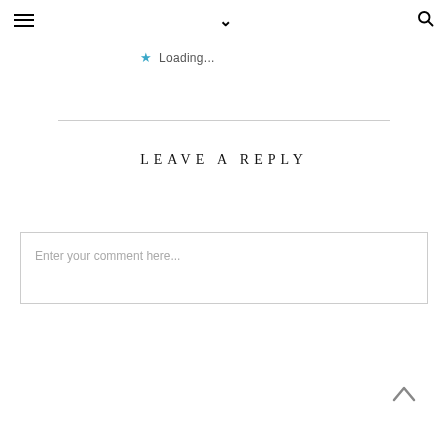≡  ✓  🔍
★ Loading...
LEAVE A REPLY
Enter your comment here...
^